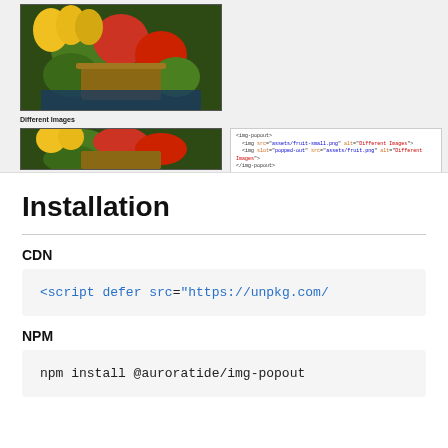[Figure (screenshot): Screenshot showing a fruit basket image (large version) and below it a smaller version with a code snippet overlay showing img-popout HTML usage. Label 'Different Images' visible between the two images.]
Installation
CDN
<script defer src="https://unpkg.com/
NPM
npm install @auroratide/img-popout